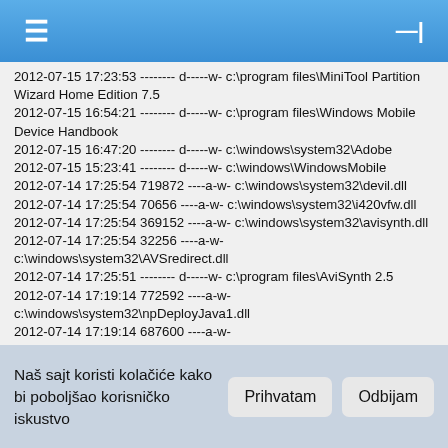≡  ⊣
2012-07-15 17:23:53 -------- d-----w- c:\program files\MiniTool Partition Wizard Home Edition 7.5
2012-07-15 16:54:21 -------- d-----w- c:\program files\Windows Mobile Device Handbook
2012-07-15 16:47:20 -------- d-----w- c:\windows\system32\Adobe
2012-07-15 15:23:41 -------- d-----w- c:\windows\WindowsMobile
2012-07-14 17:25:54 719872 ----a-w- c:\windows\system32\devil.dll
2012-07-14 17:25:54 70656 ----a-w- c:\windows\system32\i420vfw.dll
2012-07-14 17:25:54 369152 ----a-w- c:\windows\system32\avisynth.dll
2012-07-14 17:25:54 32256 ----a-w- c:\windows\system32\AVSredirect.dll
2012-07-14 17:25:51 -------- d-----w- c:\program files\AviSynth 2.5
2012-07-14 17:19:14 772592 ----a-w- c:\windows\system32\npDeployJava1.dll
2012-07-14 17:19:14 687600 ----a-w- c:\windows\system32\deployJava1.dll
2012-07-14 17:14:59 -------- d-----w- c:\users\marko\appdata\roaming\Babylon
2012-07-14 17:14:59 -------- d-----w- c:\programdata\Babylon
Naš sajt koristi kolačiće kako bi poboljšao korisničko iskustvo
Prihvatam
Odbijam